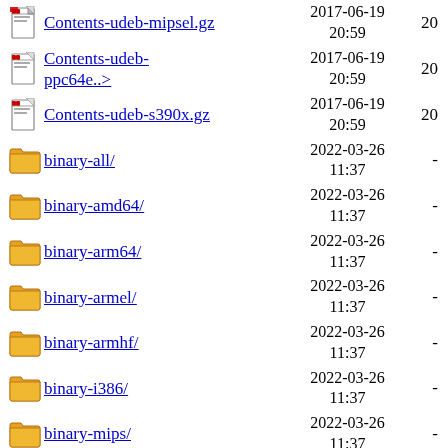Contents-udeb-mipsel.gz  2017-06-19 20:59  20
Contents-udeb-ppc64e..>  2017-06-19 20:59  20
Contents-udeb-s390x.gz  2017-06-19 20:59  20
binary-all/  2022-03-26 11:37  -
binary-amd64/  2022-03-26 11:37  -
binary-arm64/  2022-03-26 11:37  -
binary-armel/  2022-03-26 11:37  -
binary-armhf/  2022-03-26 11:37  -
binary-i386/  2022-03-26 11:37  -
binary-mips/  2022-03-26 11:37  -
binary-mips64el/  2022-03-26 11:37  -